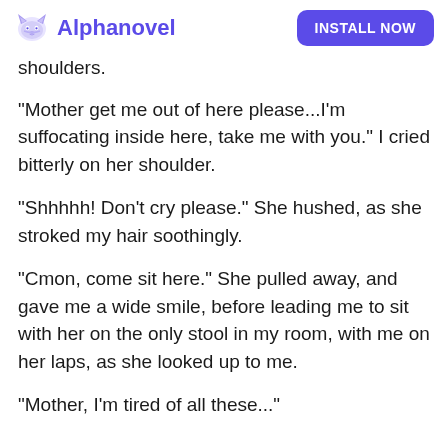Alphanovel | INSTALL NOW
shoulders.
"Mother get me out of here please...I'm suffocating inside here, take me with you." I cried bitterly on her shoulder.
"Shhhhh! Don't cry please." She hushed, as she stroked my hair soothingly.
"Cmon, come sit here." She pulled away, and gave me a wide smile, before leading me to sit with her on the only stool in my room, with me on her laps, as she looked up to me.
"Mother, I'm tired of all these..."